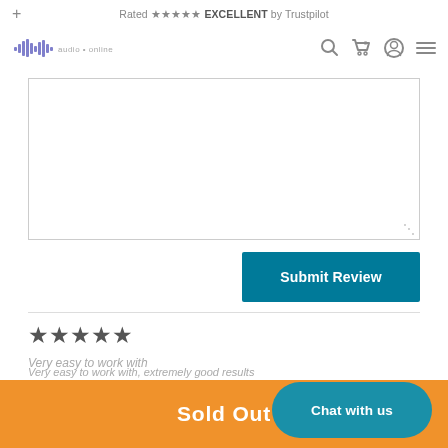+ Rated ★★★★★ EXCELLENT by Trustpilot
[Figure (logo): Audio waveform logo with text, purple waveform graphic]
[Figure (screenshot): Navigation icons: search, cart (0), user profile, hamburger menu]
[Figure (screenshot): Textarea input box (empty, resizable)]
[Figure (screenshot): Submit Review button (teal/dark cyan background, white text)]
[Figure (screenshot): 4 filled stars review rating]
Very easy to work with
Very easy to work with, extremely good results
[Figure (screenshot): Sold Out orange bar at bottom; Chat with us teal rounded button]